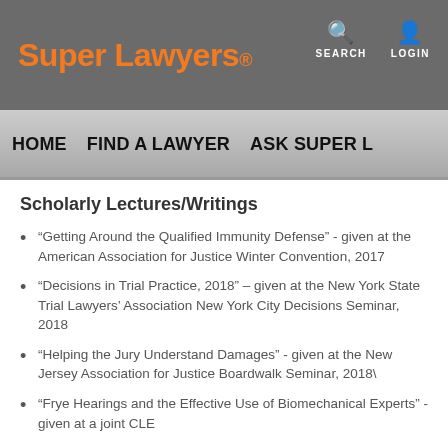Super Lawyers — SEARCH LOGIN
HOME   FIND A LAWYER   ASK SUPER L
Scholarly Lectures/Writings
“Getting Around the Qualified Immunity Defense” - given at the American Association for Justice Winter Convention, 2017
“Decisions in Trial Practice, 2018” – given at the New York State Trial Lawyers’ Association New York City Decisions Seminar, 2018
“Helping the Jury Understand Damages” - given at the New Jersey Association for Justice Boardwalk Seminar, 2018\
“Frye Hearings and the Effective Use of Biomechanical Experts” - given at a joint CLE